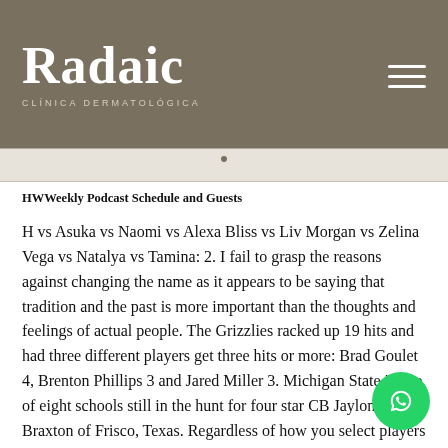Radaic — CLÍNICA DERMATOLÓGICA
HWWeekly Podcast Schedule and Guests
H vs Asuka vs Naomi vs Alexa Bliss vs Liv Morgan vs Zelina Vega vs Natalya vs Tamina: 2. I fail to grasp the reasons against changing the name as it appears to be saying that tradition and the past is more important than the thoughts and feelings of actual people. The Grizzlies racked up 19 hits and had three different players get three hits or more: Brad Goulet 4, Brenton Phillips 3 and Jared Miller 3. Michigan State is one of eight schools still in the hunt for four star CB Jaylon Braxton of Frisco, Texas. Regardless of how you select players in your league, you're trying to build a team that can compete in all of the categories your league counts evenly so that you have a balanced team and